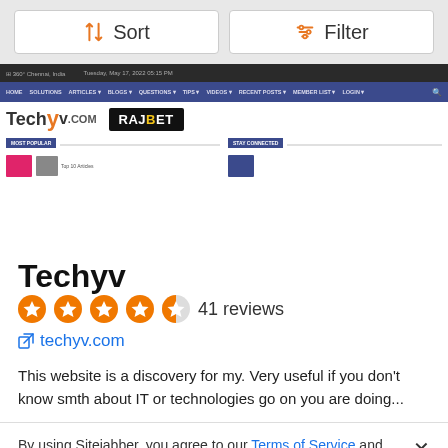[Figure (screenshot): Sort and Filter buttons row at the top of a Sitejabber reviews page]
[Figure (screenshot): Screenshot of Techyv.com website showing navigation bar, Techyv logo, RajBet ad banner, and section headers]
Techyv
41 reviews
techyv.com
This website is a discovery for my. Very useful if you don't know smth about IT or technologies go on you are doing...
By using Sitejabber, you agree to our Terms of Service and Privacy Policy. We use cookies for analytics, personalization, and ads.